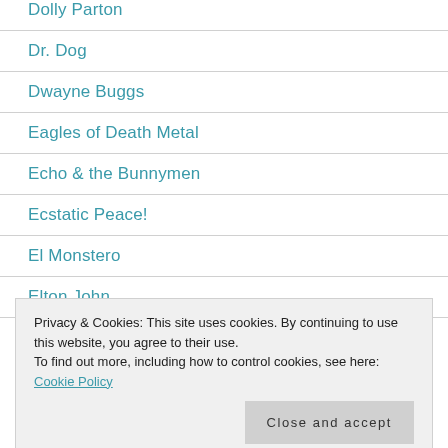Dolly Parton
Dr. Dog
Dwayne Buggs
Eagles of Death Metal
Echo & the Bunnymen
Ecstatic Peace!
El Monstero
Elton John
Privacy & Cookies: This site uses cookies. By continuing to use this website, you agree to their use.
To find out more, including how to control cookies, see here: Cookie Policy
Close and accept